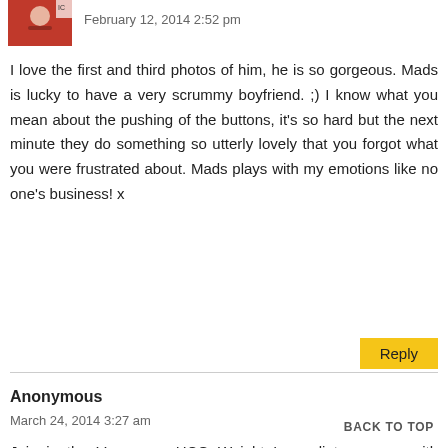[Figure (photo): Small avatar image of a person in red, top-left corner]
February 12, 2014 2:52 pm
I love the first and third photos of him, he is so gorgeous. Mads is lucky to have a very scrummy boyfriend. ;) I know what you mean about the pushing of the buttons, it's so hard but the next minute they do something so utterly lovely that you forgot what you were frustrated about. Mads plays with my emotions like no one's business! x
Reply
Anonymous
March 24, 2014 3:27 am
Join in the Vancouver HCG Weight Loss diet program with DrIederman and live a healthier and beautiful life. There are now a grea weight loss blogs that now exist all over the internet.
BACK TO TOP